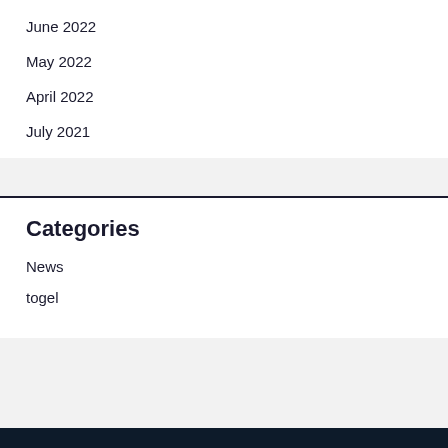June 2022
May 2022
April 2022
July 2021
Categories
News
togel